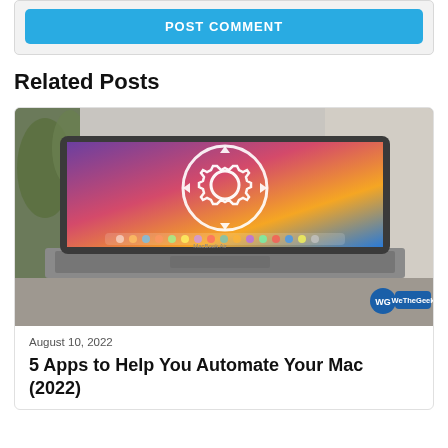POST COMMENT
Related Posts
[Figure (photo): MacBook laptop with colorful macOS Big Sur wallpaper and a white gear/automation icon overlay. WeTheGeek watermark in bottom right corner.]
August 10, 2022
5 Apps to Help You Automate Your Mac (2022)